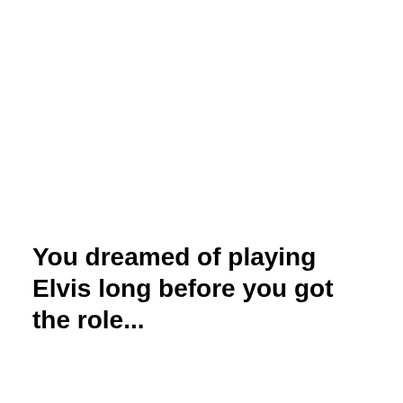You dreamed of playing Elvis long before you got the role...